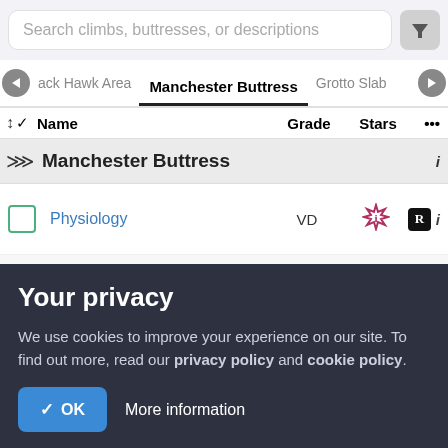Search climbs, buttresses, or descriptions
Manchester Buttress | Grotto Slab | Jack Hawk Area
| Name | Grade | Stars | ... |
| --- | --- | --- | --- |
| Manchester Buttress |  |  | i |
| Physiology | VD | ★ | R i |
| Sociology | S 4a | ★ | R i |
| Anatomy | VD | - | R i |
Your privacy
We use cookies to improve your experience on our site. To find out more, read our privacy policy and cookie policy.
✓ OK   More information